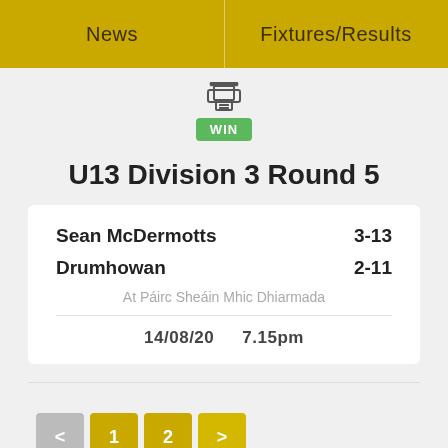News | Fixtures/Results
[Figure (infographic): Trophy/printer icon above a green WIN badge]
U13 Division 3 Round 5
| Team | Score |
| --- | --- |
| Sean McDermotts | 3-13 |
| Drumhowan | 2-11 |
At Páirc Sheáin Mhic Dhiarmada
14/08/20    7.15pm
< 1 2 >